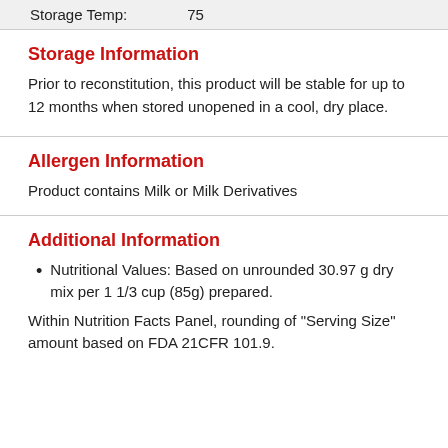| Storage Temp: | 75 |
| --- | --- |
Storage Information
Prior to reconstitution, this product will be stable for up to 12 months when stored unopened in a cool, dry place.
Allergen Information
Product contains Milk or Milk Derivatives
Additional Information
Nutritional Values: Based on unrounded 30.97 g dry mix per 1 1/3 cup (85g) prepared.
Within Nutrition Facts Panel, rounding of "Serving Size" amount based on FDA 21CFR 101.9.